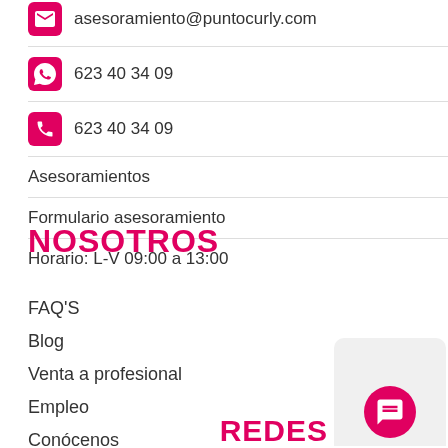asesoramiento@puntocurly.com
623 40 34 09
623 40 34 09
Asesoramientos
Formulario asesoramiento
Horario: L-V 09:00 a 13:00
NOSOTROS
FAQ'S
Blog
Venta a profesional
Empleo
Conócenos
Salones curly
Buzón de sugerencias
REDES